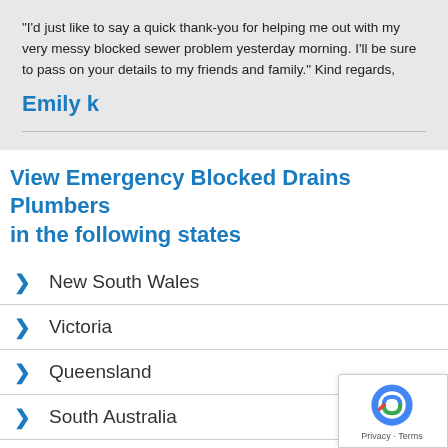"I'd just like to say a quick thank-you for helping me out with my very messy blocked sewer problem yesterday morning. I'll be sure to pass on your details to my friends and family." Kind regards,
Emily k
View Emergency Blocked Drains Plumbers in the following states
New South Wales
Victoria
Queensland
South Australia
Western Australia